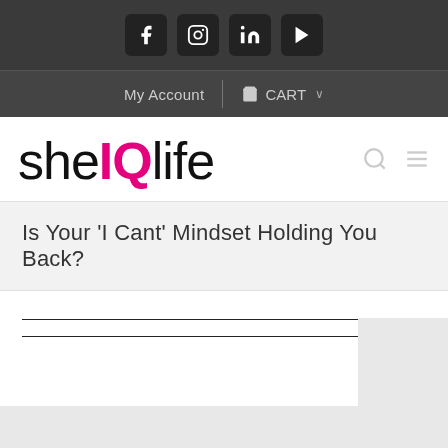[Figure (other): Social media icons bar with Facebook, Instagram, LinkedIn, YouTube icons on dark background]
My Account  |  🛒 CART ∨
[Figure (logo): sheIQlife logo - she in black thin font, IQ in bold magenta/pink, life in black thin font]
Is Your 'I Cant' Mindset Holding You Back?
[Figure (other): Partial content area with two horizontal rules and a partial image at the bottom]